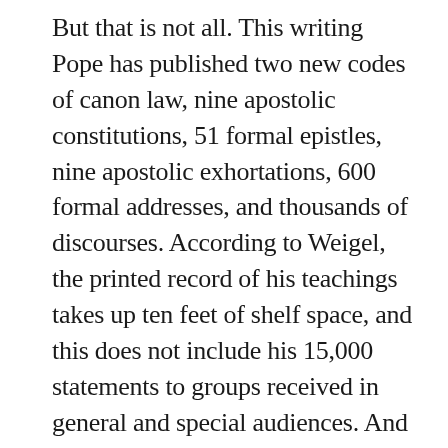But that is not all. This writing Pope has published two new codes of canon law, nine apostolic constitutions, 51 formal epistles, nine apostolic exhortations, 600 formal addresses, and thousands of discourses. According to Weigel, the printed record of his teachings takes up ten feet of shelf space, and this does not include his 15,000 statements to groups received in general and special audiences. And then there are the fruits of the Pope's famous travels. The first pontiff ever to try to visit systematically all 325 parishes of his own Rome diocese, he has also made 134 pastoral visits inside Italy and 84 foreign pilgrimages, covering almost three-quarters of a million miles and delivering in the process over 20,000 discourses to hundreds of millions of